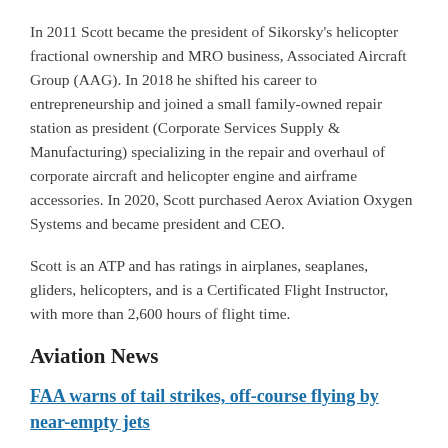In 2011 Scott became the president of Sikorsky's helicopter fractional ownership and MRO business, Associated Aircraft Group (AAG). In 2018 he shifted his career to entrepreneurship and joined a small family-owned repair station as president (Corporate Services Supply & Manufacturing) specializing in the repair and overhaul of corporate aircraft and helicopter engine and airframe accessories. In 2020, Scott purchased Aerox Aviation Oxygen Systems and became president and CEO.
Scott is an ATP and has ratings in airplanes, seaplanes, gliders, helicopters, and is a Certificated Flight Instructor, with more than 2,600 hours of flight time.
Aviation News
FAA warns of tail strikes, off-course flying by near-empty jets